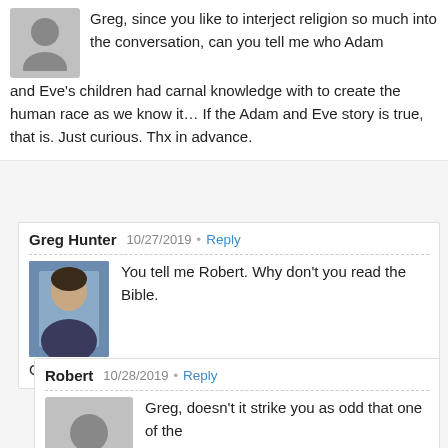Greg, since you like to interject religion so much into the conversation, can you tell me who Adam and Eve's children had carnal knowledge with to create the human race as we know it… If the Adam and Eve story is true, that is. Just curious. Thx in advance.
Greg Hunter  10/27/2019 · Reply
You tell me Robert. Why don't you read the Bible.
Greg
Robert  10/28/2019 · Reply
Greg, doesn't it strike you as odd that one of the foundations of Christianity, the story of Adam and Eve, is based on the human race origins founded in incest? Their children